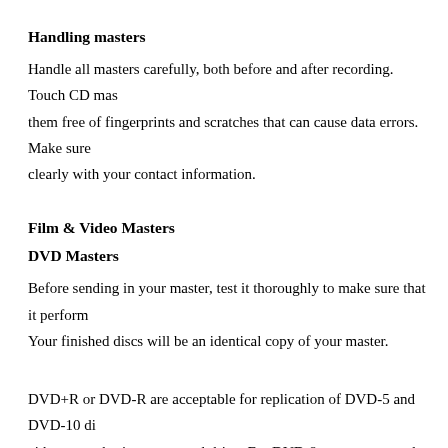Handling masters
Handle all masters carefully, both before and after recording. Touch CD mas them free of fingerprints and scratches that can cause data errors. Make sure clearly with your contact information.
Film & Video Masters
DVD Masters
Before sending in your master, test it thoroughly to make sure that it perform Your finished discs will be an identical copy of your master.
DVD+R or DVD-R are acceptable for replication of DVD-5 and DVD-10 di either an authoring or general drive. For DVD-9, you must supply two DLT DDPs on DVD-Rs. DVD+R DL can also be used for DVD-9s. DLTs and DD DVD-5 and DVD-10. Any project requiring CSS or Macrovision copy prote